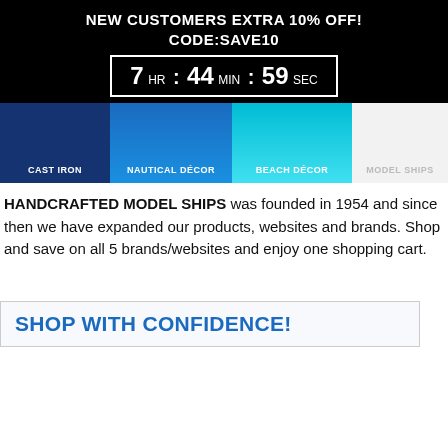NEW CUSTOMERS EXTRA 10% OFF!
CODE:SAVE10
7 HR : 44 MIN : 59 SEC
[Figure (screenshot): Navigation bar with four category tabs: CAST IRON (dark blue), NAUTICAL DÉCOR (blue), BEACH DÉCOR (cyan), MODEL SHIPS (light gray)]
HANDCRAFTED MODEL SHIPS was founded in 1954 and since then we have expanded our products, websites and brands. Shop and save on all 5 brands/websites and enjoy one shopping cart.
SHOP WITH CONFIDENCE!